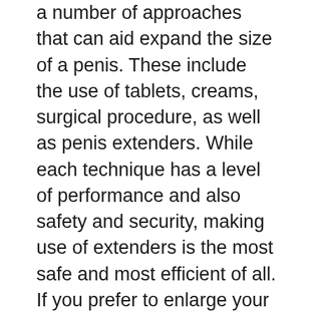a number of approaches that can aid expand the size of a penis. These include the use of tablets, creams, surgical procedure, as well as penis extenders. While each technique has a level of performance and also safety and security, making use of extenders is the most safe and most efficient of all. If you prefer to enlarge your member, as a result, we advise that you get a top quality extender. With one such as any one of the above, you'll get lasting results over a brief period.
When A Man Loses Weight Does His Penis Get Bigger
As a result, your body will certainly then create the cells consisted of in your penis to